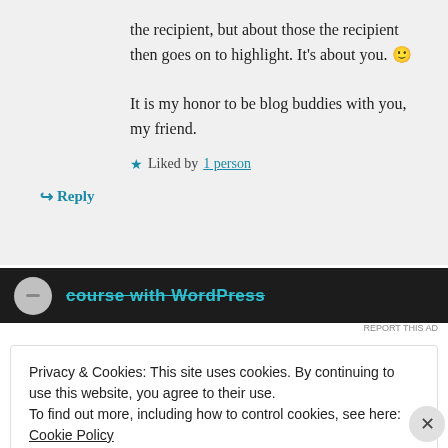the recipient, but about those the recipient then goes on to highlight. It's about you. 🙂
It is my honor to be blog buddies with you, my friend.
Liked by 1 person
Reply
[Figure (screenshot): Dark advertisement banner with WordPress course text in teal/cyan color]
REPORT THIS AD
Privacy & Cookies: This site uses cookies. By continuing to use this website, you agree to their use.
To find out more, including how to control cookies, see here: Cookie Policy
Close and accept